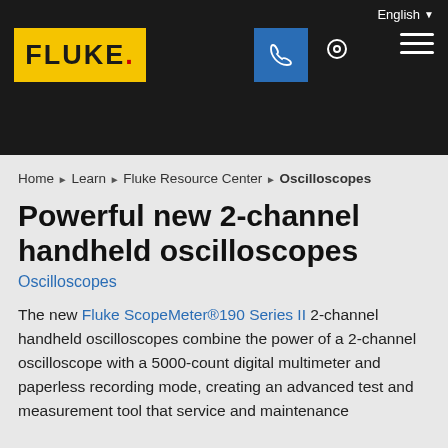English
[Figure (logo): Fluke logo in yellow box with phone icon, location icon, and hamburger menu on dark header bar]
Home ▶ Learn ▶ Fluke Resource Center ▶ Oscilloscopes
Powerful new 2-channel handheld oscilloscopes
Oscilloscopes
The new Fluke ScopeMeter®190 Series II 2-channel handheld oscilloscopes combine the power of a 2-channel oscilloscope with a 5000-count digital multimeter and paperless recording mode, creating an advanced test and measurement tool that service and maintenance